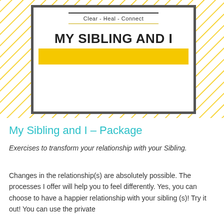[Figure (illustration): Book cover graphic showing 'MY SIBLING AND I' title with yellow highlight bar, tagline 'Clear - Heal - Connect' with decorative lines, set inside a thick gray-bordered white box on a yellow diagonal hatching background.]
My Sibling and I – Package
Exercises to transform your relationship with your Sibling.
Changes in the relationship(s) are absolutely possible. The processes I offer will help you to feel differently. Yes, you can choose to have a happier relationship with your sibling (s)! Try it out! You can use the private